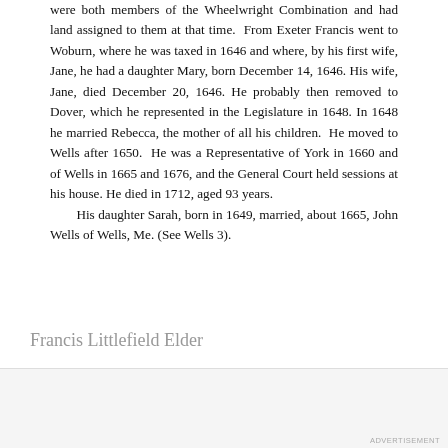were both members of the Wheelwright Combination and had land assigned to them at that time. From Exeter Francis went to Woburn, where he was taxed in 1646 and where, by his first wife, Jane, he had a daughter Mary, born December 14, 1646. His wife, Jane, died December 20, 1646. He probably then removed to Dover, which he represented in the Legislature in 1648. In 1648 he married Rebecca, the mother of all his children. He moved to Wells after 1650. He was a Representative of York in 1660 and of Wells in 1665 and 1676, and the General Court held sessions at his house. He died in 1712, aged 93 years.
	His daughter Sarah, born in 1649, married, about 1665, John Wells of Wells, Me. (See Wells 3).
Francis Littlefield Elder
Advertisements
[Figure (logo): P2 logo - dark square with 'P2' text in white]
Getting your team on the same page is easy. And free.